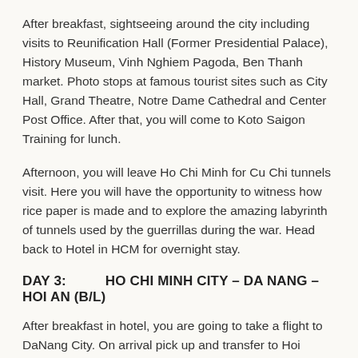After breakfast, sightseeing around the city including visits to Reunification Hall (Former Presidential Palace), History Museum, Vinh Nghiem Pagoda, Ben Thanh market. Photo stops at famous tourist sites such as City Hall, Grand Theatre, Notre Dame Cathedral and Center Post Office. After that, you will come to Koto Saigon Training for lunch.
Afternoon, you will leave Ho Chi Minh for Cu Chi tunnels visit. Here you will have the opportunity to witness how rice paper is made and to explore the amazing labyrinth of tunnels used by the guerrillas during the war. Head back to Hotel in HCM for overnight stay.
DAY 3:          HO CHI MINH CITY – DA NANG – HOI AN (B/L)
After breakfast in hotel, you are going to take a flight to DaNang City. On arrival pick up and transfer to Hoi An.On the way, you will stop in Danang for a visit to the Cham
Museum and Stone Carve Villages on foot of Marble Mountain